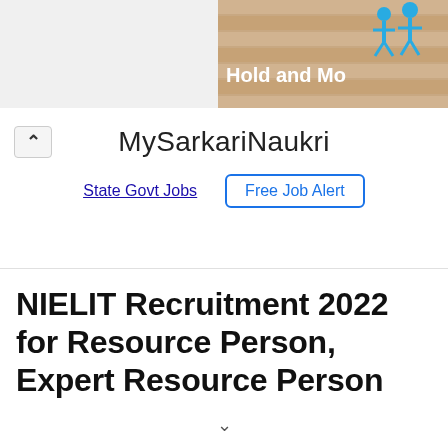[Figure (screenshot): Top banner with striped background image and 'Hold and Mo...' text with blue figure icons, partially cropped on the right side]
MySarkariNaukri
State Govt Jobs   Free Job Alert
NIELIT Recruitment 2022 for Resource Person, Expert Resource Person